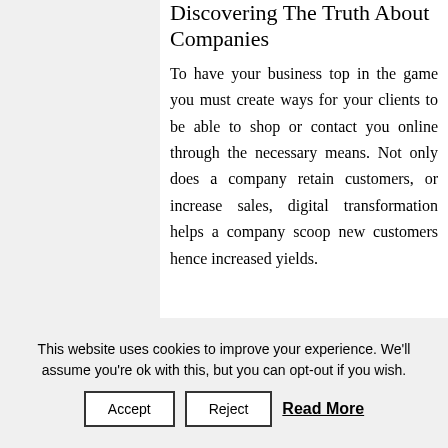Discovering The Truth About Companies
To have your business top in the game you must create ways for your clients to be able to shop or contact you online through the necessary means. Not only does a company retain customers, or increase sales, digital transformation helps a company scoop new customers hence increased yields.
This website uses cookies to improve your experience. We'll assume you're ok with this, but you can opt-out if you wish.